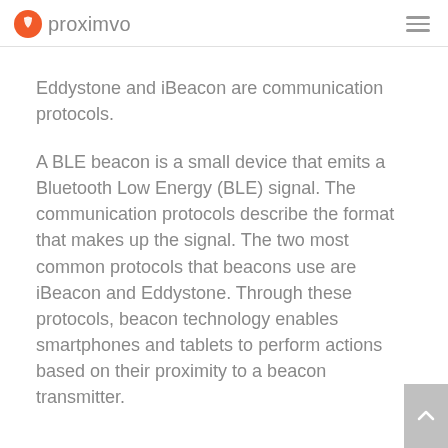proximvo
Eddystone and iBeacon are communication protocols.
A BLE beacon is a small device that emits a Bluetooth Low Energy (BLE) signal. The communication protocols describe the format that makes up the signal. The two most common protocols that beacons use are iBeacon and Eddystone. Through these protocols, beacon technology enables smartphones and tablets to perform actions based on their proximity to a beacon transmitter.